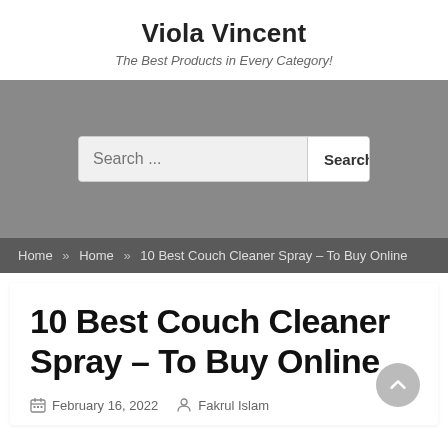Viola Vincent
The Best Products in Every Category!
[Figure (screenshot): Search bar on grey background with 'Search ...' placeholder text and a 'Search' button]
Home » Home » 10 Best Couch Cleaner Spray – To Buy Online
10 Best Couch Cleaner Spray – To Buy Online
February 16, 2022   Fakrul Islam